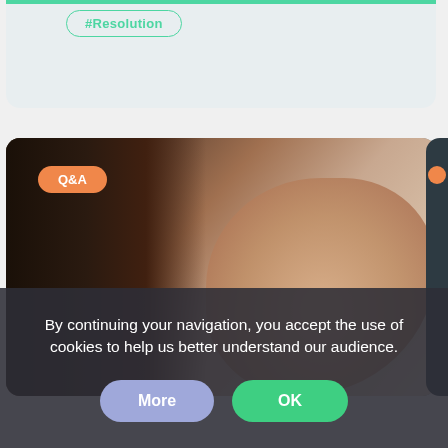[Figure (screenshot): Top portion of a content card with a teal/green top bar and a #Resolution tag in teal outline style on a light gray background]
[Figure (photo): Photo card showing the back of a person's head with dark hair on the left and a raised open hand on the right against a neutral background, with an orange Q&A tag in the top left corner]
By continuing your navigation, you accept the use of cookies to help us better understand our audience.
More
OK